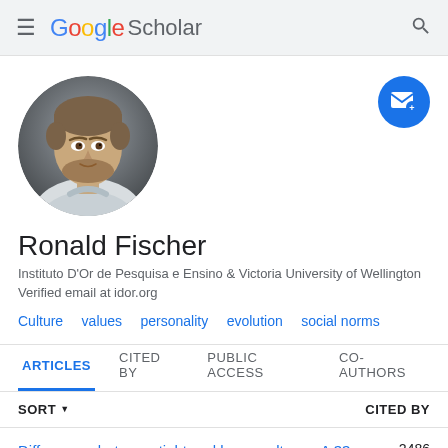Google Scholar
[Figure (photo): Circular profile photo of Ronald Fischer, a man with short hair and beard wearing a light shirt, professional headshot on gray background]
Ronald Fischer
Instituto D'Or de Pesquisa e Ensino & Victoria University of Wellington
Verified email at idor.org
Culture   values   personality   evolution   social norms
ARTICLES   CITED BY   PUBLIC ACCESS   CO-AUTHORS
SORT   CITED BY
Differences between tight and loose cultures: A 33-   2486